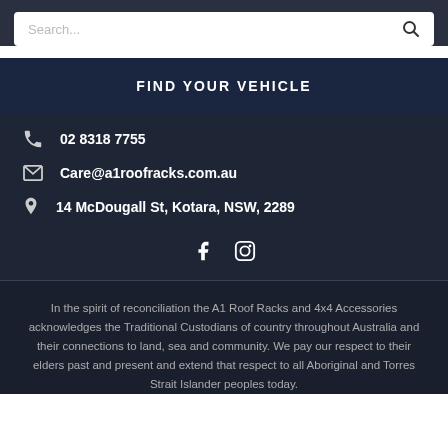Search...
FIND YOUR VEHICLE
02 8318 7755
Care@a1roofracks.com.au
14 McDougall St, Kotara, NSW, 2289
[Figure (other): Social media icons: Facebook and Instagram]
In the spirit of reconciliation the A1 Roof Racks and 4x4 Accessories acknowledges the Traditional Custodians of country throughout Australia and their connections to land, sea and community. We pay our respect to their elders past and present and extend that respect to all Aboriginal and Torres Strait Islander peoples today.